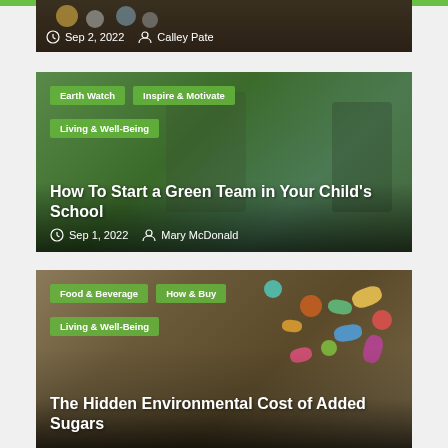[Figure (photo): Partial top of article card showing dark background, date Sep 2, 2022 and author Calley Pate]
Sep 2, 2022  Calley Pate
[Figure (photo): Children holding a green recycling bin outdoors, with tags Earth Watch, Inspire & Motivate, Living & Well-Being and title How To Start a Green Team in Your Child's School, dated Sep 1, 2022 by Mary McDonald]
How To Start a Green Team in Your Child's School
Sep 1, 2022  Mary McDonald
[Figure (photo): Close-up of colorful candies/sweets with tags Food & Beverage, How & Buy, Living & Well-Being and title The Hidden Environmental Cost of Added Sugars]
The Hidden Environmental Cost of Added Sugars